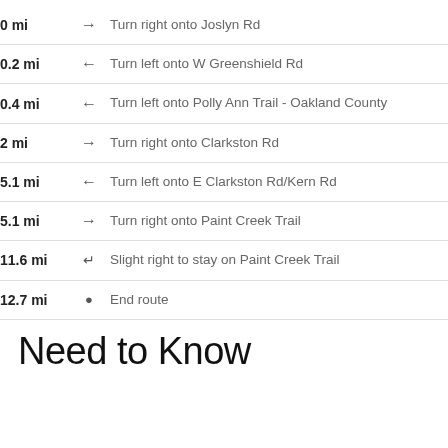0 mi → Turn right onto Joslyn Rd
0.2 mi ← Turn left onto W Greenshield Rd
0.4 mi ← Turn left onto Polly Ann Trail - Oakland County
2 mi → Turn right onto Clarkston Rd
5.1 mi ← Turn left onto E Clarkston Rd/Kern Rd
5.1 mi → Turn right onto Paint Creek Trail
11.6 mi ↱ Slight right to stay on Paint Creek Trail
12.7 mi ● End route
Need to Know